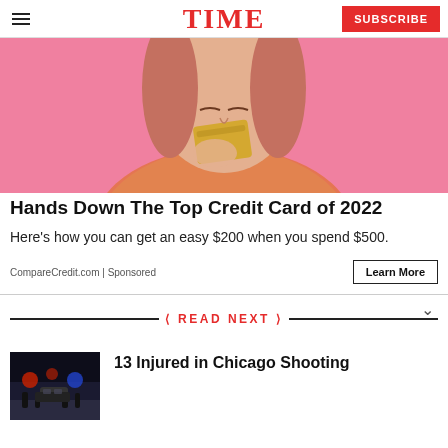TIME — SUBSCRIBE
[Figure (photo): Young woman with pink background holding a gold/tan credit card up to her face, smiling subtly, wearing an orange top]
Hands Down The Top Credit Card of 2022
Here's how you can get an easy $200 when you spend $500.
CompareCredit.com | Sponsored
READ NEXT
[Figure (photo): Nighttime street scene in Chicago with people and emergency lights]
13 Injured in Chicago Shooting